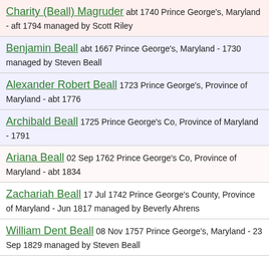Charity (Beall) Magruder abt 1740 Prince George's, Maryland - aft 1794 managed by Scott Riley
Benjamin Beall abt 1667 Prince George's, Maryland - 1730 managed by Steven Beall
Alexander Robert Beall 1723 Prince George's, Province of Maryland - abt 1776
Archibald Beall 1725 Prince George's Co, Province of Maryland - 1791
Ariana Beall 02 Sep 1762 Prince George's Co, Province of Maryland - abt 1834
Zachariah Beall 17 Jul 1742 Prince George's County, Province of Maryland - Jun 1817 managed by Beverly Ahrens
William Dent Beall 08 Nov 1757 Prince George's, Maryland - 23 Sep 1829 managed by Steven Beall